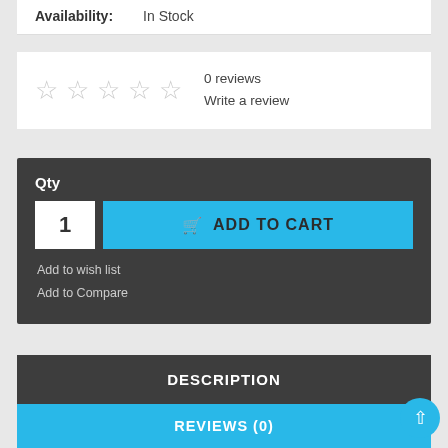Availability: In Stock
0 reviews
Write a review
Qty
1
ADD TO CART
Add to wish list
Add to Compare
Tweet
Share
DESCRIPTION
REVIEWS (0)